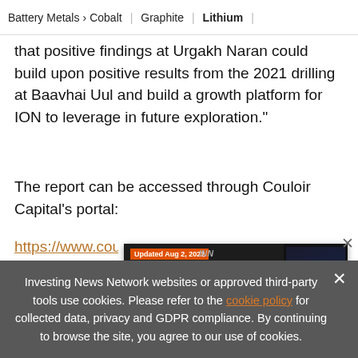Battery Metals > Cobalt | Graphite | Lithium |
that positive findings at Urgakh Naran could build upon positive results from the 2021 drilling at Baavhai Uul and build a growth platform for ION to leverage in future exploration."
The report can be accessed through Couloir Capital's portal:
https://www.couloircapital.com/research/portal
Abo
[Figure (screenshot): Advertisement banner for 2022 Uranium Outlook Report by INN. Updated Aug 2, 2022. TOP URANIUM Stocks, Trends, Expert Forecasts. Shows uranium outlook 2022 book cover image.]
Investing News Network websites or approved third-party tools use cookies. Please refer to the cookie policy for collected data, privacy and GDPR compliance. By continuing to browse the site, you agree to our use of cookies.